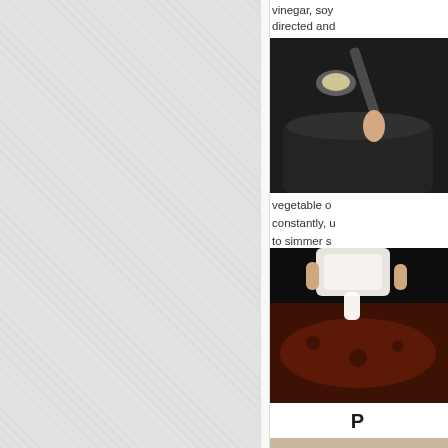[Figure (photo): Left gray textured panel background]
vinegar, soy directed and
[Figure (photo): A spoon holding minced garlic over a dark pot on a stove]
vegetable o constantly, u to simmer s
[Figure (photo): A hand pouring white liquid (cream or liquid) into a dark red simmering sauce in a pan]
P
[Figure (photo): A person shown from below/behind, partially visible]